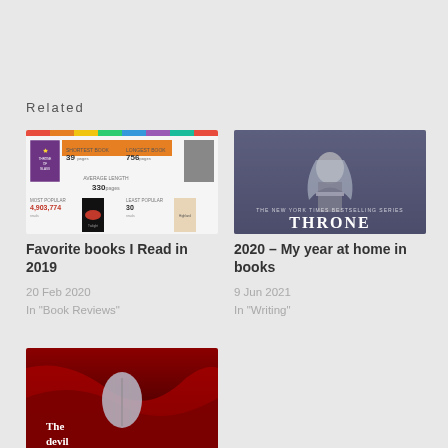Related
[Figure (screenshot): Infographic showing reading statistics for 2019 books, with book covers and stats like shortest book 39 pages, longest book 756 pages, average length 330 pages, most popular 4,903,774 reads Twilight, least popular 30 reads The Highlander Series]
Favorite books I Read in 2019
20 Feb 2020
In "Book Reviews"
[Figure (photo): Book cover for Throne of Glass series by Sarah J. Maas - shows a fantasy warrior character with silver hair against a blue-grey background with text THE NEW YORK TIMES BESTSELLING SERIES THRONE]
2020 – My year at home in books
9 Jun 2021
In "Writing"
[Figure (photo): Book cover featuring a dark fantasy image with a woman in a corset holding something, with the text 'The devil' visible on a red background]